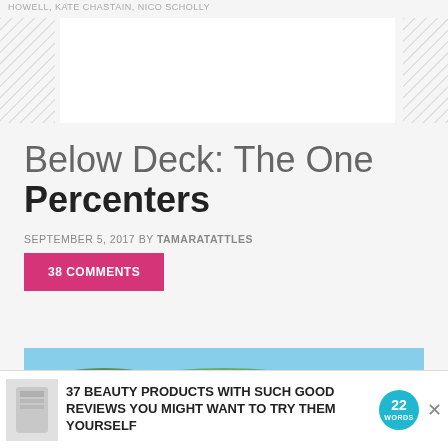HOWELL, KATE CHASTAIN, NICO SCHOLLY
[Figure (other): Advertisement placeholder banner with diagonal hatch pattern on sides]
Below Deck: The One Percenters
SEPTEMBER 5, 2017 BY TAMARATATTLES
38 COMMENTS
[Figure (photo): Photo of a person in white uniform standing on a yacht deck, looking at harbor with boats and green hills in background. Watermark reads TAMARATATTLES.COM. CLOSE button overlay.]
[Figure (other): Advertisement banner: 37 BEAUTY PRODUCTS WITH SUCH GOOD REVIEWS YOU MIGHT WANT TO TRY THEM YOURSELF, with circular badge showing 22 WORDS]